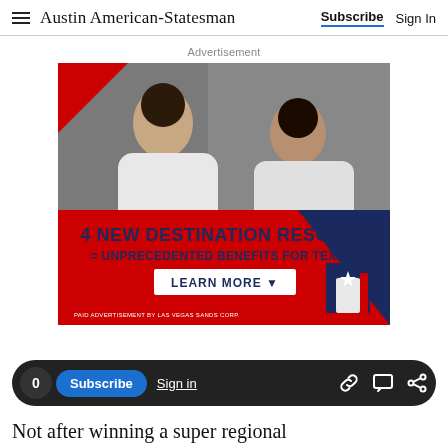Austin American-Statesman | Subscribe | Sign In
Advertisement
[Figure (photo): Advertisement image: Two people in white spa robes reclining. Red background with text '4 NEW DESTINATION RESORTS = UNPRECEDENTED BENEFITS FOR TEXAS. LEARN MORE ▼'. Paid advertisement by Las Vegas Sands Corp.]
0  Subscribe  Sign in
Not after winning a super regional